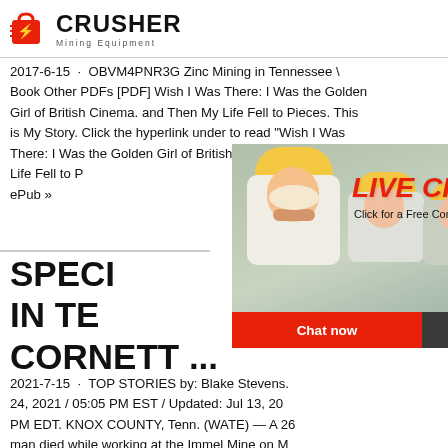CRUSHER Mining Equipment
2017-6-15 · OBVM4PNR3G Zinc Mining in Tennessee \ Book Other PDFs [PDF] Wish I Was There: I Was the Golden Girl of British Cinema. and Then My Life Fell to Pieces. This is My Story. Click the hyperlink under to read "Wish I Was There: I Was the Golden Girl of British Cinema. My Life Fell to Pieces... ePub »
SPECI... IN TE... CORNETT ...
2021-7-15 · TOP STORIES by: Blake Stevens. 24, 2021 / 05:05 PM EST / Updated: Jul 13, 20... PM EDT. KNOX COUNTY, Tenn. (WATE) — A 26... man died while working at the Immel Mine on M... mine, which sits off Mascot Road in Strawberry ... of three underground zinc mining locations in Ea...
[Figure (infographic): Live chat popup overlay with construction workers in hard hats, red LIVE CHAT text, 'Click for a Free Consultation', Chat now and Chat later buttons]